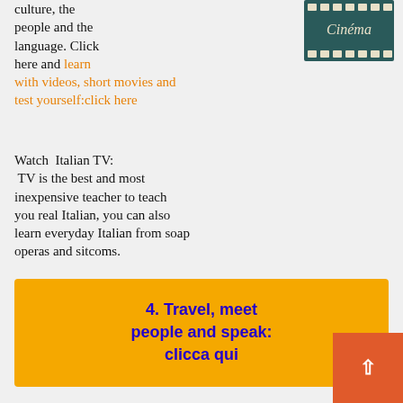culture, the people and the language. Click here and learn with videos, short movies and test yourself:click here
[Figure (illustration): Cinema film reel illustration with the word 'Cinéma' written in script on a dark teal/green background with film strip holes]
Watch  Italian TV:
 TV is the best and most inexpensive teacher to teach you real Italian, you can also learn everyday Italian from soap operas and sitcoms.
4. Travel, meet people and speak:
clicca qui